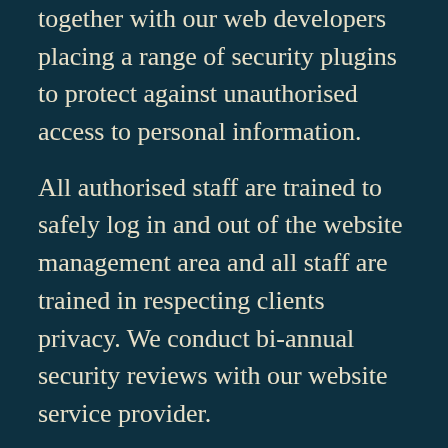together with our web developers placing a range of security plugins to protect against unauthorised access to personal information.
All authorised staff are trained to safely log in and out of the website management area and all staff are trained in respecting clients privacy. We conduct bi-annual security reviews with our website service provider.
How long do we keep your personal data for?
The GDPR requires you to retain data for no longer than reasonably necessary.